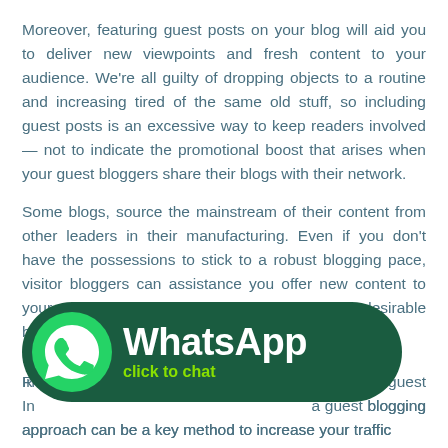Moreover, featuring guest posts on your blog will aid you to deliver new viewpoints and fresh content to your audience. We're all guilty of dropping objects to a routine and increasing tired of the same old stuff, so including guest posts is an excessive way to keep readers involved — not to indicate the promotional boost that arises when your guest bloggers share their blogs with their network.
Some blogs, source the mainstream of their content from other leaders in their manufacturing. Even if you don't have the possessions to stick to a robust blogging pace, visitor bloggers can assistance you offer new content to your readers without much extra time and effort desirable by your squad.
[Figure (logo): WhatsApp click to chat button with green rounded rectangle background, WhatsApp icon, white bold WhatsApp text and green 'click to chat' subtext]
a guest blogging approach can be a key method to increase your traffic